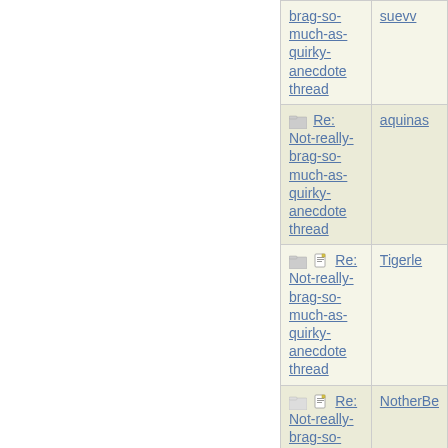| Subject | Author |
| --- | --- |
| brag-so-much-as-quirky-anecdote thread | suevv |
| Re: Not-really-brag-so-much-as-quirky-anecdote thread | aquinas |
| Re: Not-really-brag-so-much-as-quirky-anecdote thread | Tigerle |
| Re: Not-really-brag-so-much-as-quirky-anecdote thread | NotherBe |
| Re: Not-really-brag-so-much-as-quirky-anecdote thread | indigo |
| Re: Not-really-brag-so-much-as-quirky-anecdote thread | NotherBe |
| Re: Not-really-brag-so-much-as-quirky-anecdote thread | indigo |